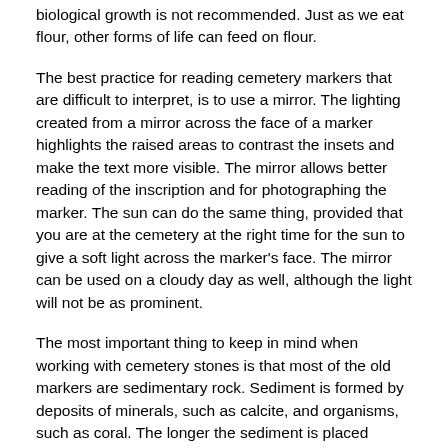biological growth is not recommended. Just as we eat flour, other forms of life can feed on flour.
The best practice for reading cemetery markers that are difficult to interpret, is to use a mirror. The lighting created from a mirror across the face of a marker highlights the raised areas to contrast the insets and make the text more visible. The mirror allows better reading of the inscription and for photographing the marker. The sun can do the same thing, provided that you are at the cemetery at the right time for the sun to give a soft light across the marker's face. The mirror can be used on a cloudy day as well, although the light will not be as prominent.
The most important thing to keep in mind when working with cemetery stones is that most of the old markers are sedimentary rock. Sediment is formed by deposits of minerals, such as calcite, and organisms, such as coral. The longer the sediment is placed under pressure, the harder and stronger the stone can become. The stone you are left with could be limestone, marble, sandstone, shale, slate, etc. This is unlike granite, which we are used to seeing these days. Granite is cut with a laser. Softer stone such as limestone and marble was utilized during the early stages of our nation, as stone masons could carve it with hand tools. When sedimentary rock is exposed to the weather it slowly erodes, basically a reversal of the process from which it was created. When we humans apply any liquid, solid, or pressure to the stone, we in turn are essentially assisting in this reversal process. While most applications of liquid are unnoticeable, we are none the less helping the marker erode. Most cemetery enthusiasts are insistent that the information on the